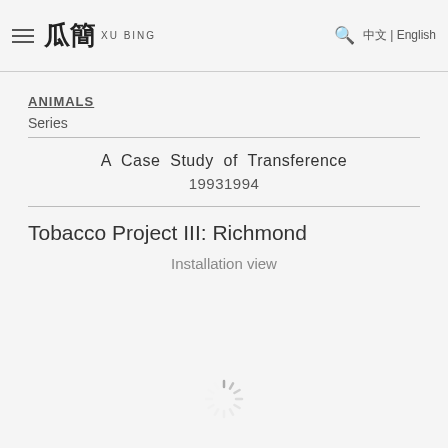Xu Bing — Navigation bar with hamburger menu, logo, search icon, and language selector (中文 | English)
ANIMALS
Series
A Case Study of Transference
1993–1994
Tobacco Project III: Richmond
Installation view
[Figure (other): Loading spinner graphic]